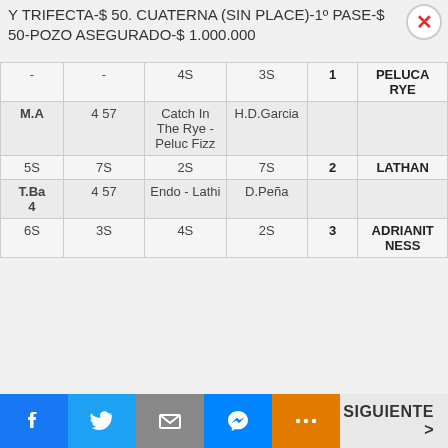Y TRIFECTA-$ 50. CUATERNA (SIN PLACE)-1º PASE-$ 50-POZO ASEGURADO-$ 1.000.000
| - | - | 4S | 3S | 1 | PELUCA RYE |
| M.A | 4 57 | Catch In The Rye - Peluc Fizz | H.D.Garcia |  |  |
| 5S | 7S | 2S | 7S | 2 | LATHAN |
| T.Ba 4 | 4 57 | Endo - Lathl | D.Peña |  |  |
| 6S | 3S | 4S | 2S | 3 | ADRIANIT NESS |
SIGUIENTE >